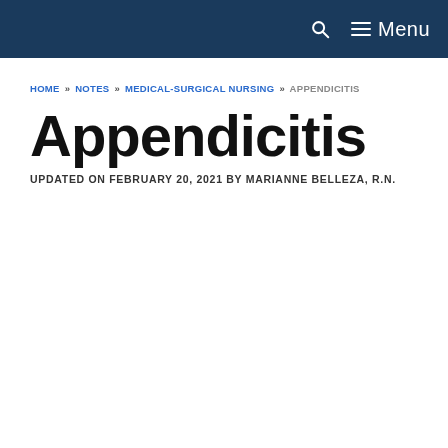Menu
HOME » NOTES » MEDICAL-SURGICAL NURSING » APPENDICITIS
Appendicitis
UPDATED ON FEBRUARY 20, 2021 BY MARIANNE BELLEZA, R.N.